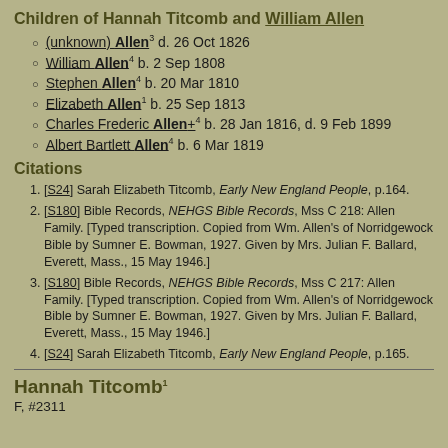Children of Hannah Titcomb and William Allen
(unknown) Allen³ d. 26 Oct 1826
William Allen⁴ b. 2 Sep 1808
Stephen Allen⁴ b. 20 Mar 1810
Elizabeth Allen¹ b. 25 Sep 1813
Charles Frederic Allen+⁴ b. 28 Jan 1816, d. 9 Feb 1899
Albert Bartlett Allen⁴ b. 6 Mar 1819
Citations
[S24] Sarah Elizabeth Titcomb, Early New England People, p.164.
[S180] Bible Records, NEHGS Bible Records, Mss C 218: Allen Family. [Typed transcription. Copied from Wm. Allen's of Norridgewock Bible by Sumner E. Bowman, 1927. Given by Mrs. Julian F. Ballard, Everett, Mass., 15 May 1946.]
[S180] Bible Records, NEHGS Bible Records, Mss C 217: Allen Family. [Typed transcription. Copied from Wm. Allen's of Norridgewock Bible by Sumner E. Bowman, 1927. Given by Mrs. Julian F. Ballard, Everett, Mass., 15 May 1946.]
[S24] Sarah Elizabeth Titcomb, Early New England People, p.165.
Hannah Titcomb¹
F, #2311